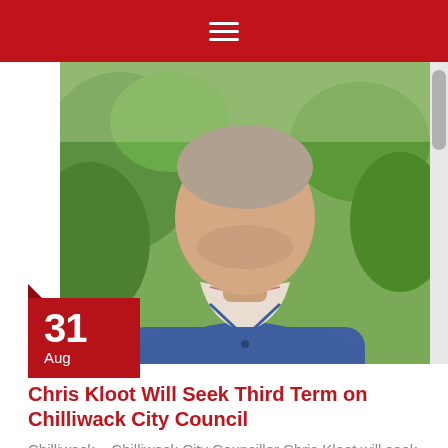Navigation menu (hamburger icon)
[Figure (photo): Portrait photo of Chris Kloot, a man wearing a blue button-up shirt with a patterned white collar, outdoors with green foliage in the background. A red date badge reading '31 Aug' is overlaid in the lower-left of the photo.]
Chris Kloot Will Seek Third Term on Chilliwack City Council
Chilliwack – Chilliwack City Councillor Chris Kloot will seek a Third Term on council in the October 15 municipal elections. Kloot's background: Chair of the Agricultural and Rural Advisory